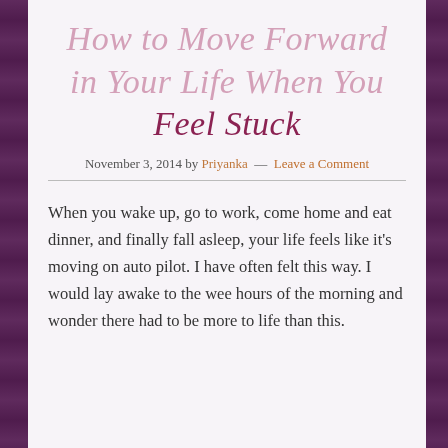How to Move Forward in Your Life When You Feel Stuck
November 3, 2014 by Priyanka — Leave a Comment
When you wake up, go to work, come home and eat dinner, and finally fall asleep, your life feels like it's moving on auto pilot. I have often felt this way. I would lay awake to the wee hours of the morning and wonder there had to be more to life than this.